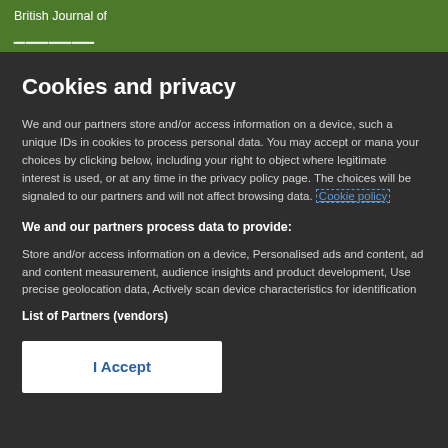British Journal of
Cookies and privacy
We and our partners store and/or access information on a device, such as unique IDs in cookies to process personal data. You may accept or manage your choices by clicking below, including your right to object where legitimate interest is used, or at any time in the privacy policy page. These choices will be signaled to our partners and will not affect browsing data. Cookie policy
We and our partners process data to provide:
Store and/or access information on a device, Personalised ads and content, ad and content measurement, audience insights and product development, Use precise geolocation data, Actively scan device characteristics for identification
List of Partners (vendors)
I Accept